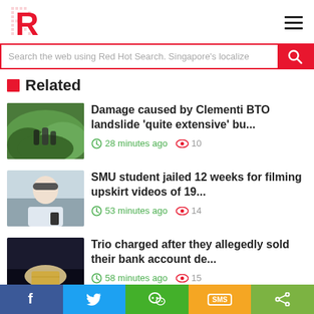R (Red Hot) logo and hamburger menu
Search the web using Red Hot Search. Singapore's localize
Related
Damage caused by Clementi BTO landslide 'quite extensive' bu... 28 minutes ago 10
SMU student jailed 12 weeks for filming upskirt videos of 19... 53 minutes ago 14
Trio charged after they allegedly sold their bank account de... 58 minutes ago 15
Share bar: Facebook, Twitter, WeChat, SMS, Share